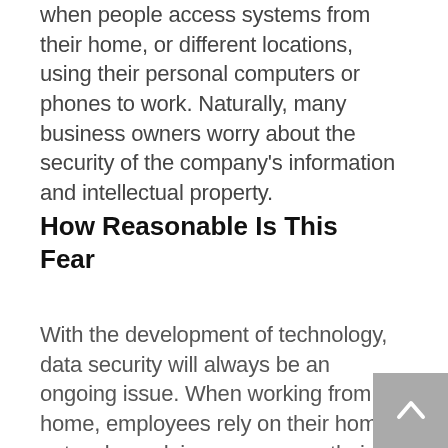when people access systems from their home, or different locations, using their personal computers or phones to work. Naturally, many business owners worry about the security of the company's information and intellectual property.
How Reasonable Is This Fear
With the development of technology, data security will always be an ongoing issue. When working from home, employees rely on their home networks and, in some cases, their personal devices to complete tasks, which significantly increases the risk of sensitive information